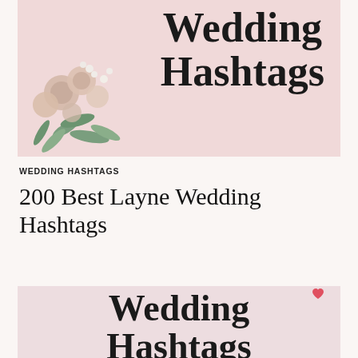[Figure (photo): Pink background with dried flower bouquet in bottom-left corner and bold text 'Wedding Hashtags' on the right side]
WEDDING HASHTAGS
200 Best Layne Wedding Hashtags
[Figure (photo): Light pink/mauve background card showing bold text 'Wedding Hashtags' partially visible, with a small heart icon at top]